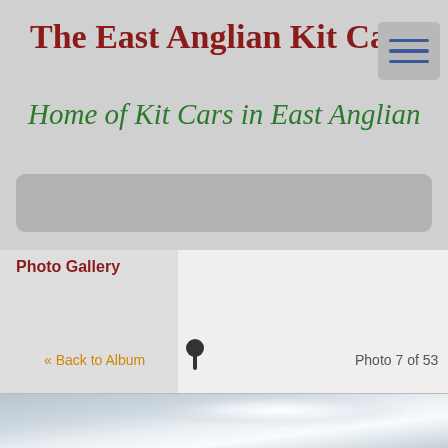The East Anglian Kit Car Club
Home of Kit Cars in East Anglian
[Figure (screenshot): Navigation bar placeholder (grey rounded rectangle)]
Photo Gallery
« Back to Album
Photo 7 of 53
[Figure (photo): Partial photo showing sky with light, grey and white tones]